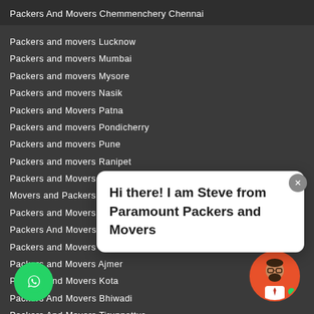Packers And Movers Chemmenchery Chennai
Packers and movers Lucknow
Packers and movers Mumbai
Packers and movers Mysore
Packers and movers Nasik
Packers and Movers Patna
Packers and movers Pondicherry
Packers and movers Pune
Packers and movers Ranipet
Packers and Movers Naidupet
Movers and Packers Bikaner
Packers and Movers Indore
Packers And Movers Perambalur
Packers and Movers Tindivanum
Packers and Movers Ajmer
Packers And Movers Kota
Packers And Movers Bhiwadi
Packers And Movers Tiruppattur
Cuddalore Packers and Movers Cuddalore
Hi there! I am Steve from Paramount Packers and Movers
[Figure (illustration): WhatsApp chat button (green circle with phone icon) and avatar of a bearded man with glasses on orange background with green dot]